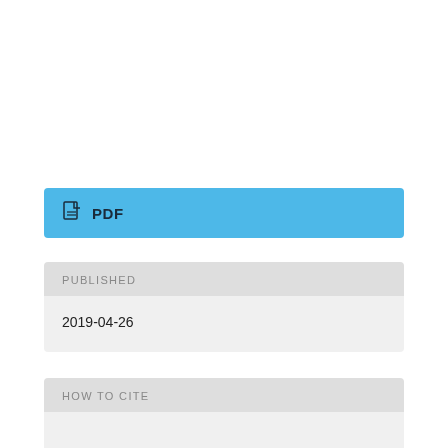PDF
PUBLISHED
2019-04-26
HOW TO CITE